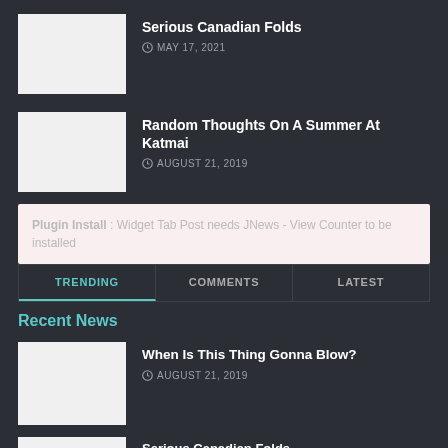Serious Canadian Folds
MAY 17, 2021
Random Thoughts On A Summer At Katmai
AUGUST 21, 2019
Plugin Install : Widget Tab Post needs JNews - View Counter to be installed
TRENDING | COMMENTS | LATEST
Recent News
When Is This Thing Gonna Blow?
AUGUST 21, 2019
Serious Canadian Folds